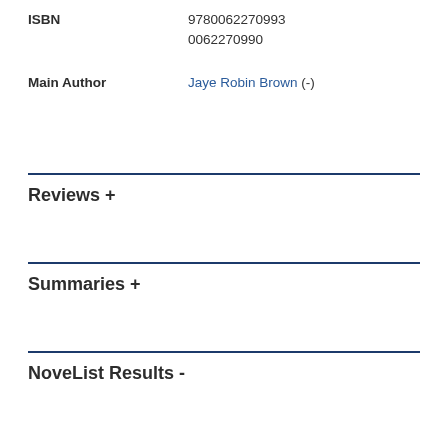ISBN   9780062270993
0062270990
Main Author   Jaye Robin Brown (-)
Reviews  +
Summaries  +
NoveList Results  -